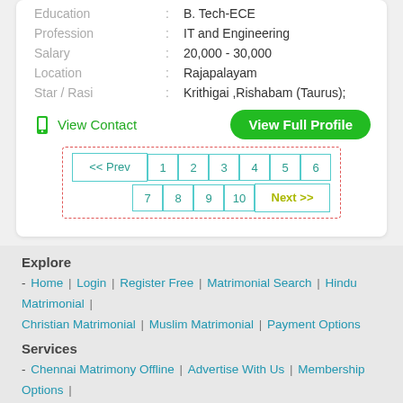| Education | : | B. Tech-ECE |
| Profession | : | IT and Engineering |
| Salary | : | 20,000 - 30,000 |
| Location | : | Rajapalayam |
| Star / Rasi | : | Krithigai ,Rishabam (Taurus); |
View Contact
View Full Profile
<< Prev 1 2 3 4 5 6 7 8 9 10 Next >>
Explore
- Home | Login | Register Free | Matrimonial Search | Hindu Matrimonial | Christian Matrimonial | Muslim Matrimonial | Payment Options
Services
- Chennai Matrimony Offline | Advertise With Us | Membership Options |
Help
- Contact Us | Help | Feedback | Frequently Asked Questions | Report Abuse | Sitemap
Legal